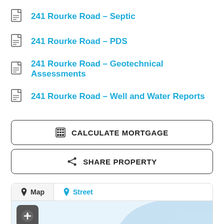241 Rourke Road - Septic
241 Rourke Road - PDS
241 Rourke Road - Geotechnical Assessments
241 Rourke Road - Well and Water Reports
CALCULATE MORTGAGE
SHARE PROPERTY
[Figure (screenshot): Map view with Map and Street tabs, showing a partial map with blue water area and a navigation/compass icon button]